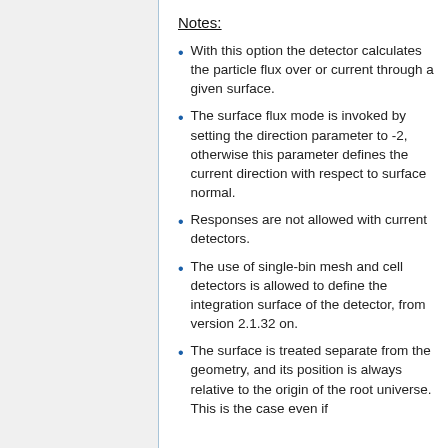Notes:
With this option the detector calculates the particle flux over or current through a given surface.
The surface flux mode is invoked by setting the direction parameter to -2, otherwise this parameter defines the current direction with respect to surface normal.
Responses are not allowed with current detectors.
The use of single-bin mesh and cell detectors is allowed to define the integration surface of the detector, from version 2.1.32 on.
The surface is treated separate from the geometry, and its position is always relative to the origin of the root universe. This is the case even if